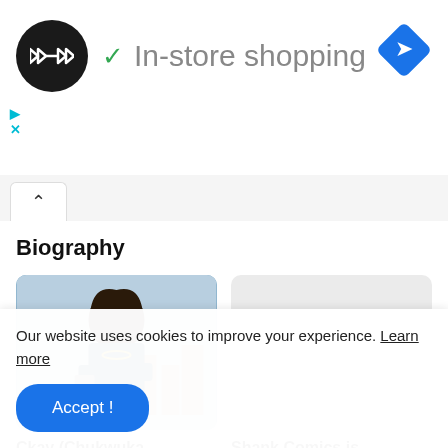[Figure (screenshot): In-store shopping banner with logo, green checkmark, and blue navigation diamond icon]
In-store shopping
[Figure (screenshot): Tab bar with upward chevron (^) tab]
Biography
[Figure (photo): Photo of Ckay (Chukwuka Ekweani) - young man in dark jacket holding something, urban background]
[Figure (illustration): Placeholder light gray image for Shank Comics]
Ckay (Chukwuka Ekweani)
Shank Comics is (Adesokan
Our website uses cookies to improve your experience. Learn more
Accept !